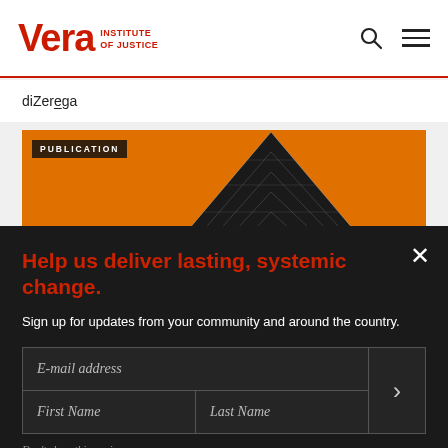Vera Institute of Justice
diZerega
[Figure (photo): Orange background with dark building/grid structure silhouette, labeled PUBLICATION]
Help us deliver lasting, systemic change.
Sign up for updates from your community and around the country.
E-mail address
First Name
Last Name
Don't show this again